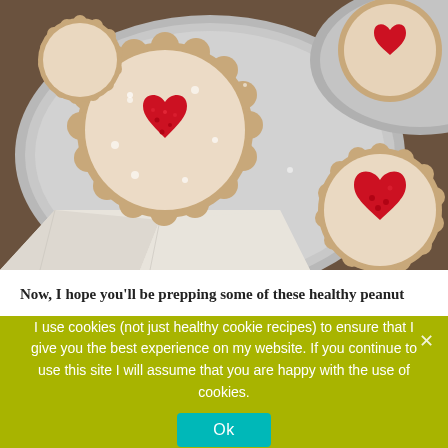[Figure (photo): Close-up photo of heart-shaped linzer cookies dusted with powdered sugar, filled with red berry jam, arranged on a grey plate and linen napkin on a dark background.]
Now, I hope you'll be prepping some of these healthy peanut
I use cookies (not just healthy cookie recipes) to ensure that I give you the best experience on my website. If you continue to use this site I will assume that you are happy with the use of cookies.